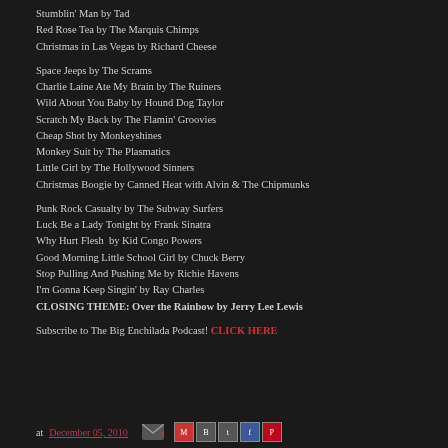Stumblin' Man by Tad
Red Rose Tea by The Marquis Chimps
Christmas in Las Vegas by Richard Cheese
Space Jeeps by The Scrams
Charlie Laine Ate My Brain by The Ruiners
Wild About You Baby by Hound Dog Taylor
Scratch My Back by The Flamin' Groovies
Cheap Shot by Monkeyshines
Monkey Suit by The Plasmatics
Little Girl by The Hollywood Sinners
Christmas Boogie by Canned Heat with Alvin & The Chipmunks
Punk Rock Casualty by The Subway Surfers
Luck Be a Lady Tonight by Frank Sinatra
Why Hurt Flesh  by Kid Congo Powers
Good Morning Little School Girl by Chuck Berry
Stop Pulling And Pushing Me by Richie Havens
I'm Gonna Keep Singin' by Ray Charles
CLOSING THEME: Over the Rainbow by Jerry Lee Lewis
Subscribe to The Big Enchilada Podcast! CLICK HERE
at December 05, 2010